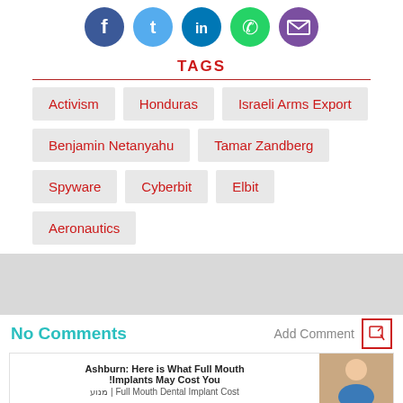[Figure (other): Social media sharing icons: Facebook (blue), Twitter (light blue), LinkedIn (dark blue), WhatsApp (green), Email (purple)]
TAGS
Activism
Honduras
Israeli Arms Export
Benjamin Netanyahu
Tamar Zandberg
Spyware
Cyberbit
Elbit
Aeronautics
No Comments
Add Comment
Ashburn: Here is What Full Mouth Implants May Cost You
מנוע | Full Mouth Dental Implant Cost